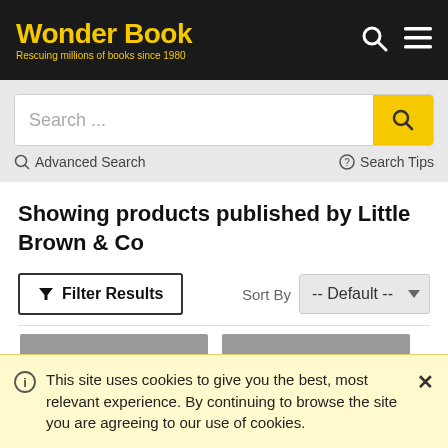Wonder Book — Rescuing millions of books since 1980
Search ...
Advanced Search
Search Tips
Showing products published by Little Brown & Co
Filter Results
Sort By -- Default --
[Figure (other): Two grey book cover thumbnail placeholders side by side]
This site uses cookies to give you the best, most relevant experience. By continuing to browse the site you are agreeing to our use of cookies.